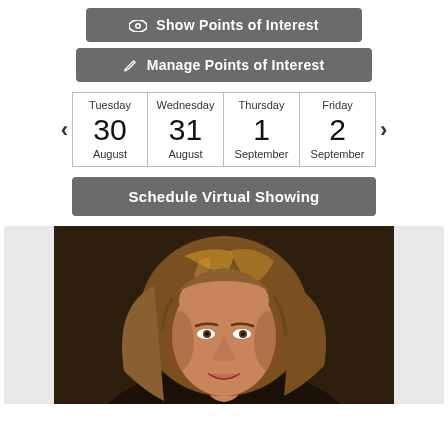Show Points of Interest
Manage Points of Interest
| Tuesday | Wednesday | Thursday | Friday |
| --- | --- | --- | --- |
| 30 | 31 | 1 | 2 |
| August | August | September | September |
Schedule Virtual Showing
[Figure (photo): Headshot photo of a woman with wavy blonde/brown hair, smiling, against a dark background]